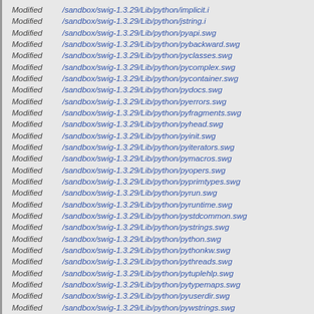Modified   /sandbox/swig-1.3.29/Lib/python/implicit.i
Modified   /sandbox/swig-1.3.29/Lib/python/jstring.i
Modified   /sandbox/swig-1.3.29/Lib/python/pyapi.swg
Modified   /sandbox/swig-1.3.29/Lib/python/pybackward.swg
Modified   /sandbox/swig-1.3.29/Lib/python/pyclasses.swg
Modified   /sandbox/swig-1.3.29/Lib/python/pycomplex.swg
Modified   /sandbox/swig-1.3.29/Lib/python/pycontainer.swg
Modified   /sandbox/swig-1.3.29/Lib/python/pydocs.swg
Modified   /sandbox/swig-1.3.29/Lib/python/pyerrors.swg
Modified   /sandbox/swig-1.3.29/Lib/python/pyfragments.swg
Modified   /sandbox/swig-1.3.29/Lib/python/pyhead.swg
Modified   /sandbox/swig-1.3.29/Lib/python/pyinit.swg
Modified   /sandbox/swig-1.3.29/Lib/python/pyiterators.swg
Modified   /sandbox/swig-1.3.29/Lib/python/pymacros.swg
Modified   /sandbox/swig-1.3.29/Lib/python/pyopers.swg
Modified   /sandbox/swig-1.3.29/Lib/python/pyprimtypes.swg
Modified   /sandbox/swig-1.3.29/Lib/python/pyrun.swg
Modified   /sandbox/swig-1.3.29/Lib/python/pyruntime.swg
Modified   /sandbox/swig-1.3.29/Lib/python/pystdcommon.swg
Modified   /sandbox/swig-1.3.29/Lib/python/pystrings.swg
Modified   /sandbox/swig-1.3.29/Lib/python/python.swg
Modified   /sandbox/swig-1.3.29/Lib/python/pythonkw.swg
Modified   /sandbox/swig-1.3.29/Lib/python/pythreads.swg
Modified   /sandbox/swig-1.3.29/Lib/python/pytuplehlp.swg
Modified   /sandbox/swig-1.3.29/Lib/python/pytypemaps.swg
Modified   /sandbox/swig-1.3.29/Lib/python/pyuserdir.swg
Modified   /sandbox/swig-1.3.29/Lib/python/pywstrings.swg
Modified   /sandbox/swig-1.3.29/Lib/python/std_alloc.i
Modified   /sandbox/swig-1.3.29/Lib/python/std_basic_string.i
Modified   /sandbox/swig-1.3.29/Lib/python/std_carray.i